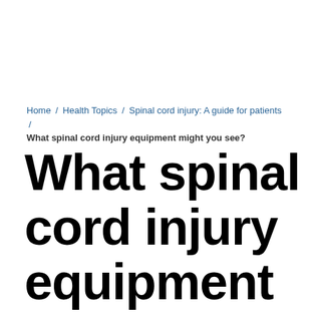Home / Health Topics / Spinal cord injury: A guide for patients / What spinal cord injury equipment might you see?
What spinal cord injury equipment might you see?